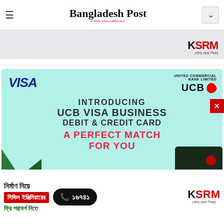Bangladesh Post — a daily with a difference
[Figure (advertisement): Top partial ad banner showing KSRM logo and Bengali text শেকড় থেকে শিখরে]
[Figure (advertisement): UCB VISA Business Debit & Credit Card advertisement on teal/cyan background. VISA logo top-left, UCB UNITED COMMERCIAL BANK LIMITED logo top-right. Text: INTRODUCING UCB VISA BUSINESS DEBIT & CREDIT CARD A PERFECT MATCH FOR YOU. Green card corner bottom-left, dark card bottom-right. Red close button.]
[Figure (advertisement): Bottom banner: Bengali text 'নির্মাণ নিয়ে সিভিল ইঞ্জিনিয়ারের ফ্রি পরামর্শ নিতে' with phone number ১৬৭৪১ and KSRM logo]